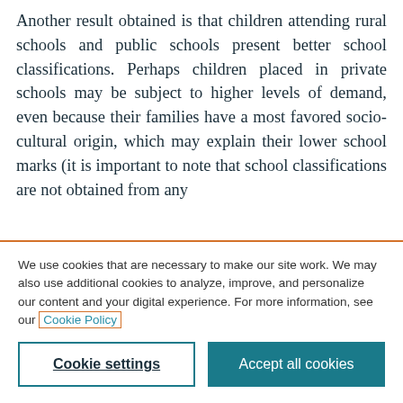Another result obtained is that children attending rural schools and public schools present better school classifications. Perhaps children placed in private schools may be subject to higher levels of demand, even because their families have a most favored socio-cultural origin, which may explain their lower school marks (it is important to note that school classifications are not obtained from any
We use cookies that are necessary to make our site work. We may also use additional cookies to analyze, improve, and personalize our content and your digital experience. For more information, see our Cookie Policy
Cookie settings
Accept all cookies